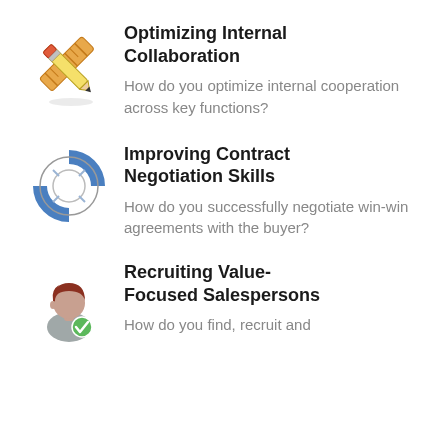[Figure (illustration): Crossed pencil and ruler icon]
Optimizing Internal Collaboration
How do you optimize internal cooperation across key functions?
[Figure (illustration): Lifebelt / lifebuoy icon]
Improving Contract Negotiation Skills
How do you successfully negotiate win-win agreements with the buyer?
[Figure (illustration): Person avatar icon with green checkmark]
Recruiting Value-Focused Salespersons
How do you find, recruit and